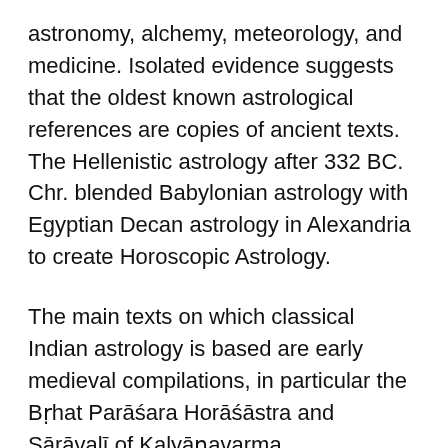astronomy, alchemy, meteorology, and medicine. Isolated evidence suggests that the oldest known astrological references are copies of ancient texts. The Hellenistic astrology after 332 BC. Chr. blended Babylonian astrology with Egyptian Decan astrology in Alexandria to create Horoscopic Astrology.
The main texts on which classical Indian astrology is based are early medieval compilations, in particular the Bṛhat Parāśara Horāśāstra and Sārāvalī of Kalyāṇavarma.
.